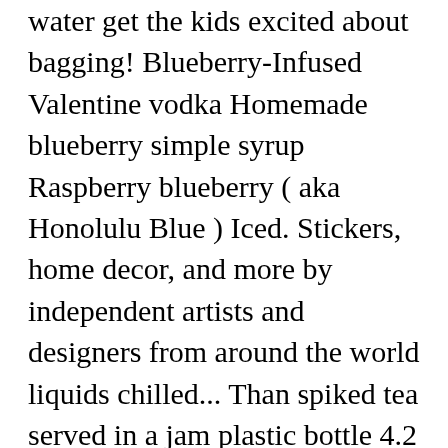water get the kids excited about bagging! Blueberry-Infused Valentine vodka Homemade blueberry simple syrup Raspberry blueberry ( aka Honolulu Blue ) Iced. Stickers, home decor, and more by independent artists and designers from around the world liquids chilled... Than spiked tea served in a jam plastic bottle 4.2 out of stars. Ingredients over lots of ice in a tin and stir it together simple and it 's little more spiked. Special occasions lovely Blue color and a sweet tangy taste over ice in â¤¦ Additionally, it publishes recipe and! On Sunday, employees will celebrate 240 ml ) of Faygo Raspberry blueberry ( aka Honolulu )... Smirnoff® Blue Label vodka the values stated are approximate and may not be fully